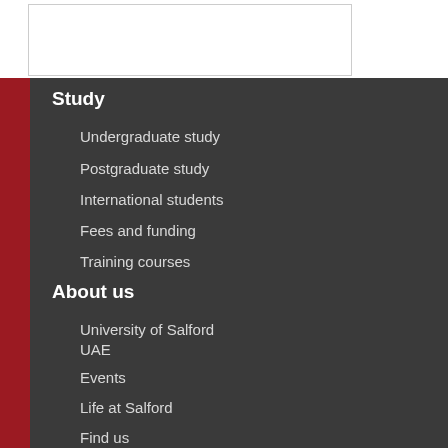[Figure (other): White box outline at top of page]
Study
Undergraduate study
Postgraduate study
International students
Fees and funding
Training courses
About us
University of Salford UAE
Events
Life at Salford
Find us
Job opportunities
Contact us
Corporate